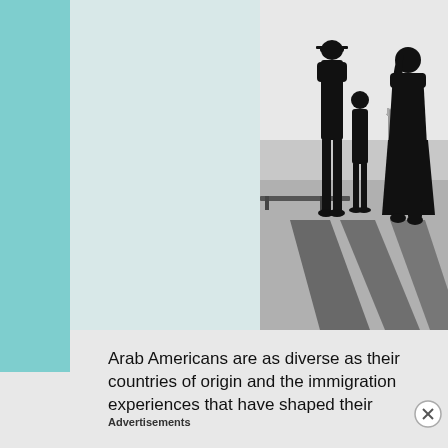[Figure (photo): Black and white photograph of three silhouetted figures (man in cap, child, and woman) viewed from behind, looking out toward water with the Statue of Liberty visible in the distance]
Arab Americans are as diverse as their countries of origin and the immigration experiences that have shaped their
Advertisements